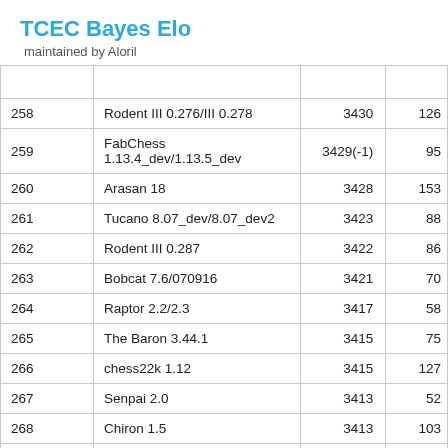TCEC Bayes Elo
maintained by Aloril
| Rank | Engine | Elo |  |
| --- | --- | --- | --- |
| 258 | Rodent III 0.276/III 0.278 | 3430 | 126 |
| 259 | FabChess 1.13.4_dev/1.13.5_dev | 3429(-1) | 95 |
| 260 | Arasan 18 | 3428 | 153 |
| 261 | Tucano 8.07_dev/8.07_dev2 | 3423 | 88 |
| 262 | Rodent III 0.287 | 3422 | 86 |
| 263 | Bobcat 7.6/070916 | 3421 | 70 |
| 264 | Raptor 2.2/2.3 | 3417 | 58 |
| 265 | The Baron 3.44.1 | 3415 | 75 |
| 266 | chess22k 1.12 | 3415 | 127 |
| 267 | Senpai 2.0 | 3413 | 52 |
| 268 | Chiron 1.5 | 3413 | 103 |
| 269(+1) | Vajolet2 2.3.2 | 3408 | 59 |
| 270(-1) | Igel 1.8.1 | 3408 | 97 |